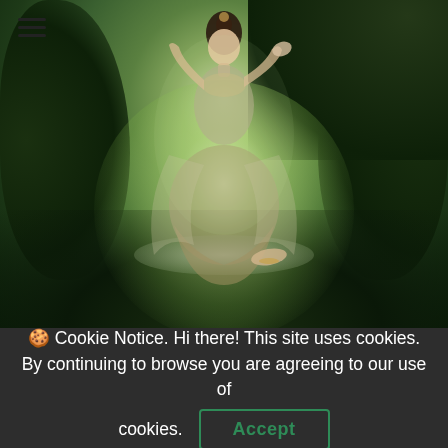[Figure (illustration): A painting of a goddess or celestial female figure seated on a lotus platform, dressed in ornate traditional garments, surrounded by swirling green mist and dark foliage. The figure has an elegant pose with one hand raised. The overall palette is deep green with a luminous center glow.]
🍪 Cookie Notice. Hi there! This site uses cookies. By continuing to browse you are agreeing to our use of cookies.